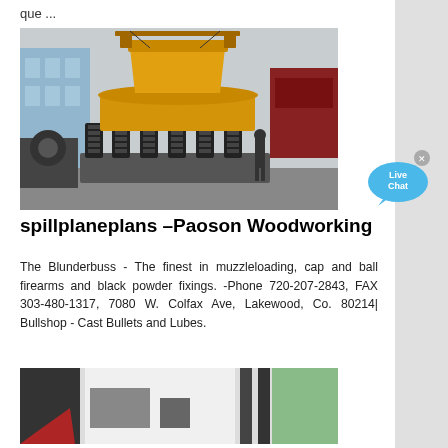que ...
[Figure (photo): Industrial yellow cone crusher machine in an outdoor yard with buildings and a truck in the background]
[Figure (other): Live Chat button bubble in blue]
spillplaneplans –Paoson Woodworking
The Blunderbuss - The finest in muzzleloading, cap and ball firearms and black powder fixings. -Phone 720-207-2843, FAX 303-480-1317, 7080 W. Colfax Ave, Lakewood, Co. 80214| Bullshop - Cast Bullets and Lubes.
[Figure (photo): Partial view of machinery or woodworking equipment in an indoor setting]